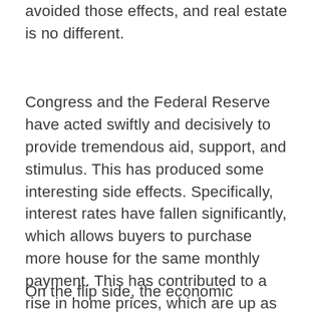avoided those effects, and real estate is no different.
Congress and the Federal Reserve have acted swiftly and decisively to provide tremendous aid, support, and stimulus. This has produced some interesting side effects. Specifically, interest rates have fallen significantly, which allows buyers to purchase more house for the same monthly payment. This has contributed to a rise in home prices, which are up as much as 8-10% over last year. This is great news for sellers!
On the flip side, the economic